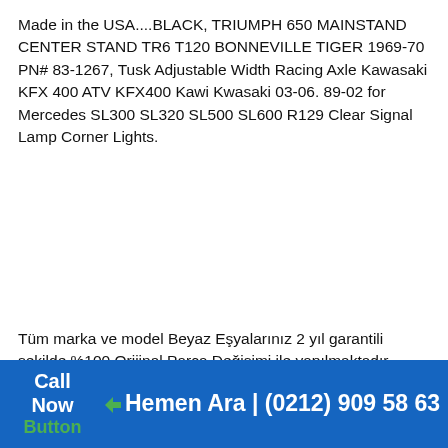Made in the USA....BLACK, TRIUMPH 650 MAINSTAND CENTER STAND TR6 T120 BONNEVILLE TIGER 1969-70 PN# 83-1267, Tusk Adjustable Width Racing Axle Kawasaki KFX 400 ATV KFX400 Kawi Kwasaki 03-06. 89-02 for Mercedes SL300 SL320 SL500 SL600 R129 Clear Signal Lamp Corner Lights.
Tüm marka ve model Beyaz Eşyalarınız 2 yıl garantili şekilde %100 Orijinal Parça Değişimi ile yapılmaktadır. 2001 Yılından bu yana siz değerli müşterilerimize hizmet vermekteyiz. Haftanın 7 günü 24 saat bizlere ulaşabilir ve aynı gün içerisin de eve servis
Call Now Button | Hemen Ara | (0212) 909 58 63